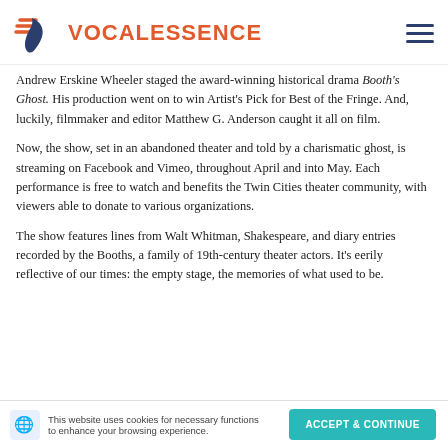VOCALESSENCE
Andrew Erskine Wheeler staged the award-winning historical drama Booth's Ghost. His production went on to win Artist's Pick for Best of the Fringe. And, luckily, filmmaker and editor Matthew G. Anderson caught it all on film.
Now, the show, set in an abandoned theater and told by a charismatic ghost, is streaming on Facebook and Vimeo, throughout April and into May. Each performance is free to watch and benefits the Twin Cities theater community, with viewers able to donate to various organizations.
The show features lines from Walt Whitman, Shakespeare, and diary entries recorded by the Booths, a family of 19th-century theater actors. It's eerily reflective of our times: the empty stage, the memories of what used to be.
This website uses cookies for necessary functions to enhance your browsing experience. ACCEPT & CONTINUE